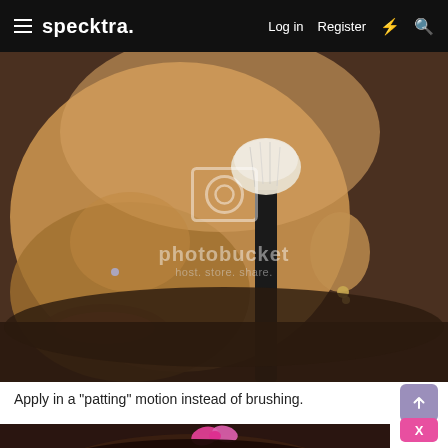specktra. Log in Register
[Figure (photo): Close-up side profile photo of a person holding a makeup brush near their face/jawline. The person has a nose piercing, earring, and dark hair. A Photobucket watermark is visible overlaid on the image.]
Apply in a "patting" motion instead of brushing.
[Figure (photo): Partial photo showing top of a person's head with dark hair and a pink bow/hair accessory.]